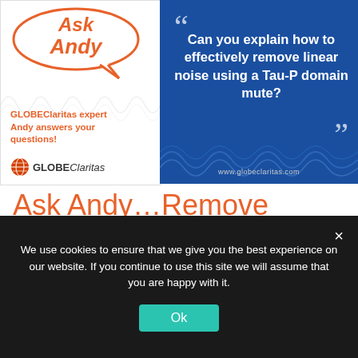[Figure (infographic): Ask Andy banner split into two panels: left panel has white background with an orange speech bubble containing 'Ask Andy' text, seismic wave graphics, text 'GLOBEClaritas expert Andy answers your questions!', and GLOBEClaritas logo; right panel has dark blue background with a question quote 'Can you explain how to effectively remove linear noise using a Tau-P domain mute?' with quotation marks and www.globeclaritas.com URL at bottom.]
Ask Andy…Remove linear noise using Tau-P domain mute
We use cookies to ensure that we give you the best experience on our website. If you continue to use this site we will assume that you are happy with it.